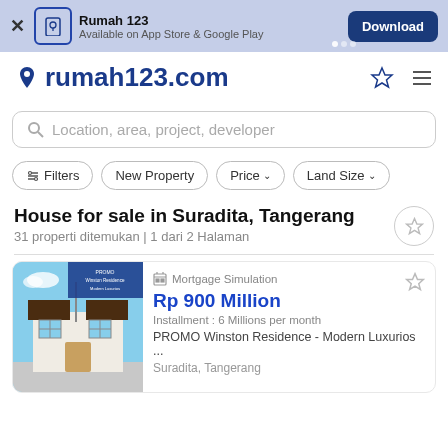Rumah 123 — Available on App Store & Google Play — Download
rumah123.com
Location, area, project, developer
Filters | New Property | Price | Land Size
House for sale in Suradita, Tangerang
31 properti ditemukan | 1 dari 2 Halaman
Mortgage Simulation
Rp 900 Million
Installment : 6 Millions per month
PROMO Winston Residence - Modern Luxurios ...
Suradita, Tangerang